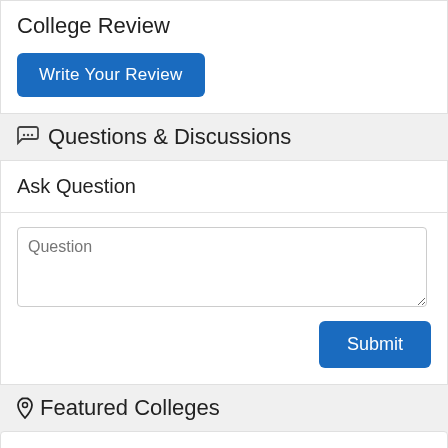College Review
Write Your Review
Questions & Discussions
Ask Question
Question
Submit
Featured Colleges
Padmashree International College
Tinkune, Kathmandu